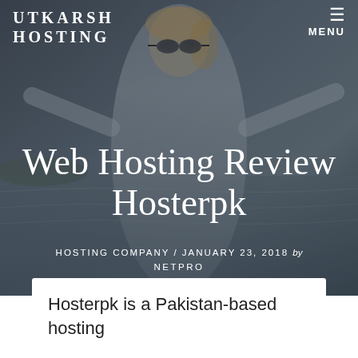[Figure (photo): Hero background image of a smiling woman with sunglasses and arms raised, at a waterfront/beach setting, overlaid with dark semi-transparent gradient]
UTKARSH HOSTING
MENU
Web Hosting Review Hosterpk
HOSTING COMPANY / JANUARY 23, 2018 by NETPRO
Hosterpk is a Pakistan-based hosting company that offers international